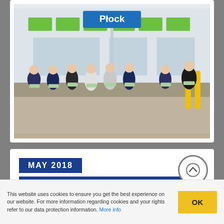[Figure (photo): Group of approximately 8 people standing in front of a building with a 'Płock' sign, each holding a green poster/flyer. The building has green decorative stripes.]
MAY 2018
KAPLICE (CZECH REPUBLIC)
This website uses cookies to ensure you get the best experience on our website. For more information regarding cookies and your rights refer to our data protection information. More info